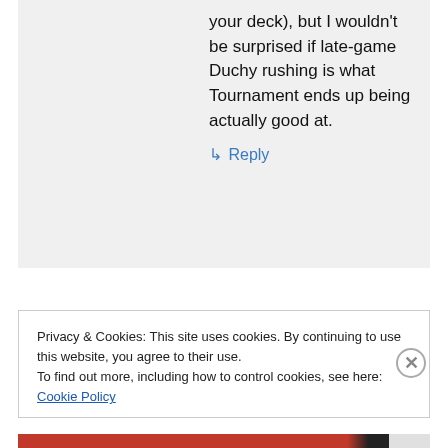your deck), but I wouldn't be surprised if late-game Duchy rushing is what Tournament ends up being actually good at.
↳ Reply
Privacy & Cookies: This site uses cookies. By continuing to use this website, you agree to their use.
To find out more, including how to control cookies, see here: Cookie Policy
Close and accept